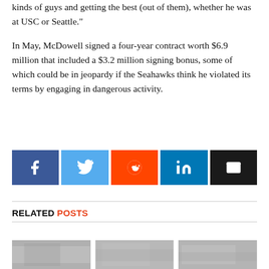kinds of guys and getting the best (out of them), whether he was at USC or Seattle."
In May, McDowell signed a four-year contract worth $6.9 million that included a $3.2 million signing bonus, some of which could be in jeopardy if the Seahawks think he violated its terms by engaging in dangerous activity.
[Figure (other): Social share buttons: Facebook, Twitter, Reddit, LinkedIn, Email]
RELATED POSTS
[Figure (photo): Related posts thumbnail images (two or three image placeholders)]